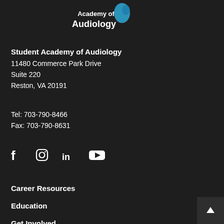[Figure (logo): Student Academy of Audiology logo with text 'Academy of Audiology' and a blue ear icon]
Student Academy of Audiology
11480 Commerce Park Drive
Suite 220
Reston, VA 20191
Tel: 703-790-8466
Fax: 703-790-8631
[Figure (infographic): Social media icons: Facebook, Instagram, LinkedIn, YouTube]
Career Resources
Education
Get Involved